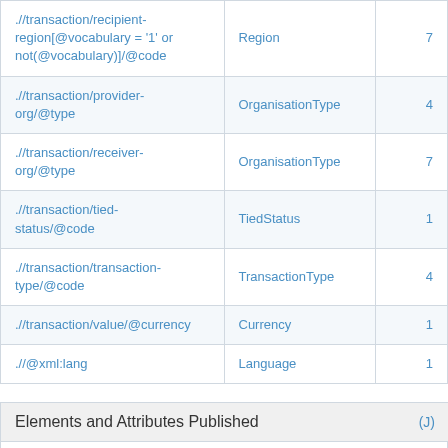| XPath | Codelist | Count |
| --- | --- | --- |
| .//transaction/recipient-region[@vocabulary = '1' or not(@vocabulary)]/@code | Region | 7 |
| .//transaction/provider-org/@type | OrganisationType | 4 |
| .//transaction/receiver-org/@type | OrganisationType | 7 |
| .//transaction/tied-status/@code | TiedStatus | 1 |
| .//transaction/transaction-type/@code | TransactionType | 4 |
| .//transaction/value/@currency | Currency | 1 |
| .//@xml:lang | Language | 1 |
Elements and Attributes Published (J)
| Element/Attribute |
| --- |